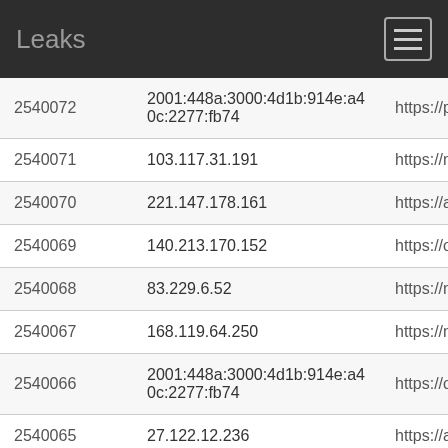Leaks
| ID | IP Address | URL |
| --- | --- | --- |
| 2540072 | 2001:448a:3000:4d1b:914e:a40c:2277:fb74 | https://p section |
| 2540071 | 103.117.31.191 | https://n |
| 2540070 | 221.147.178.161 | https://a key=d6 |
| 2540069 | 140.213.170.152 | https://o section |
| 2540068 | 83.229.6.52 | https://n |
| 2540067 | 168.119.64.250 | https://n |
| 2540066 | 2001:448a:3000:4d1b:914e:a40c:2277:fb74 | https://o section |
| 2540065 | 27.122.12.236 | https://a key=d6 |